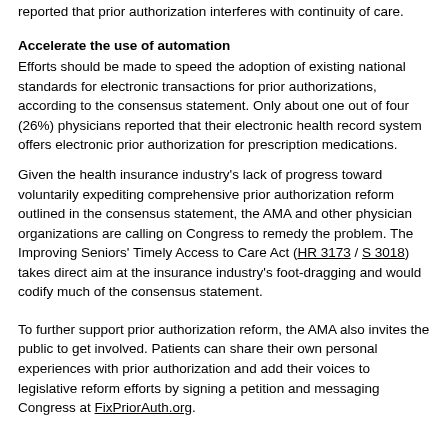reported that prior authorization interferes with continuity of care.
Accelerate the use of automation
Efforts should be made to speed the adoption of existing national standards for electronic transactions for prior authorizations, according to the consensus statement. Only about one out of four (26%) physicians reported that their electronic health record system offers electronic prior authorization for prescription medications.
Given the health insurance industry's lack of progress toward voluntarily expediting comprehensive prior authorization reform outlined in the consensus statement, the AMA and other physician organizations are calling on Congress to remedy the problem. The Improving Seniors' Timely Access to Care Act (HR 3173 / S 3018) takes direct aim at the insurance industry's foot-dragging and would codify much of the consensus statement.
To further support prior authorization reform, the AMA also invites the public to get involved. Patients can share their own personal experiences with prior authorization and add their voices to legislative reform efforts by signing a petition and messaging Congress at FixPriorAuth.org.